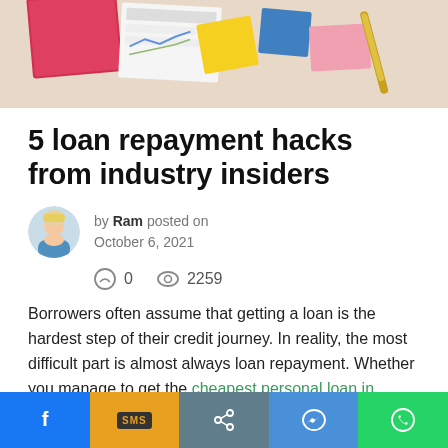[Figure (photo): Hero image showing financial documents, sticky notes, and colorful paper slips on a desk]
5 loan repayment hacks from industry insiders
by Ram posted on October 6, 2021
0 comments  2259 views
Borrowers often assume that getting a loan is the hardest step of their credit journey. In reality, the most difficult part is almost always loan repayment. Whether you manage to get the cheapest personal loan in